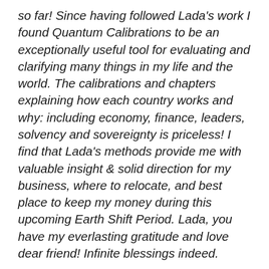so far! Since having followed Lada's work I found Quantum Calibrations to be an exceptionally useful tool for evaluating and clarifying many things in my life and the world. The calibrations and chapters explaining how each country works and why: including economy, finance, leaders, solvency and sovereignty is priceless! I find that Lada's methods provide me with valuable insight & solid direction for my business, where to relocate, and best place to keep my money during this upcoming Earth Shift Period. Lada, you have my everlasting gratitude and love dear friend! Infinite blessings indeed.
Q1 – 1EarthUnited
Firstly: your phenomenal book focuses on calibrations of countries and their governments...